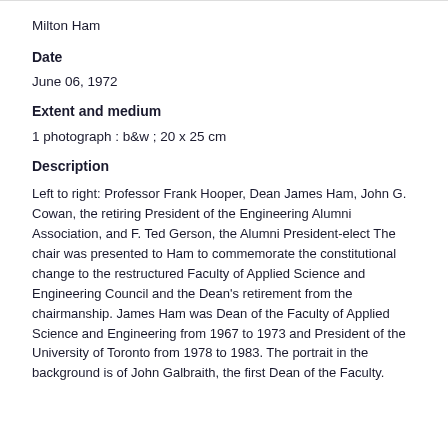Milton Ham
Date
June 06, 1972
Extent and medium
1 photograph : b&w ; 20 x 25 cm
Description
Left to right: Professor Frank Hooper, Dean James Ham, John G. Cowan, the retiring President of the Engineering Alumni Association, and F. Ted Gerson, the Alumni President-elect The chair was presented to Ham to commemorate the constitutional change to the restructured Faculty of Applied Science and Engineering Council and the Dean's retirement from the chairmanship. James Ham was Dean of the Faculty of Applied Science and Engineering from 1967 to 1973 and President of the University of Toronto from 1978 to 1983. The portrait in the background is of John Galbraith, the first Dean of the Faculty.